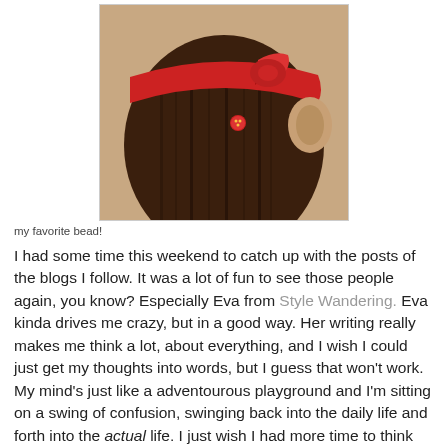[Figure (photo): Close-up photo of the back of a person's head with dark dreadlocked hair, wearing a red fabric headband/wrap tied at the back, with a small red decorative bead visible in the hair.]
my favorite bead!
I had some time this weekend to catch up with the posts of the blogs I follow. It was a lot of fun to see those people again, you know? Especially Eva from Style Wandering. Eva kinda drives me crazy, but in a good way. Her writing really makes me think a lot, about everything, and I wish I could just get my thoughts into words, but I guess that won't work. My mind's just like a adventourous playground and I'm sitting on a swing of confusion, swinging back into the daily life and forth into the actual life. I just wish I had more time to think and to create, more time to read because I feel almost unhealthy without art.